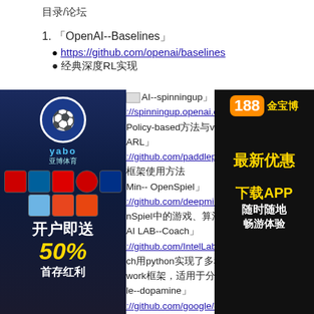目录/论坛
1. 「OpenAI--Baselines」
• https://github.com/openai/baselines
• 经典深度RL实现
[Figure (photo): Left advertisement banner: yabo 亚博体育 sports betting ad with soccer team logos, 开户即送 50% 首存红利]
[Figure (photo): Right advertisement banner: 188金宝博 with 最新优惠, 下载APP 随时随地 畅游体验]
AI--spinningup」
://spinningup.openai.com/en/lat
Policy-based方法与value-based方法的比较，以及DQ
ARL」
://github.com/paddlepaddle/parl
框架使用方法
Min-- OpenSpiel」
://github.com/deepmind/open_s
nSpiel中的游戏、算法以及学习环境的介绍，对战/博
AI LAB--Coach」
://github.com/IntelLabs/coach
ch用python实现了多种深度强化学习算法，同时包含多
work框架，适用于分布式强化学习的研究和开发
le--dopamine」
://github.com/google/dopamine
amine是一个基于TensorFlow的强化学习框架，
（谷歌开源）
t Learning Framework(ALF)」